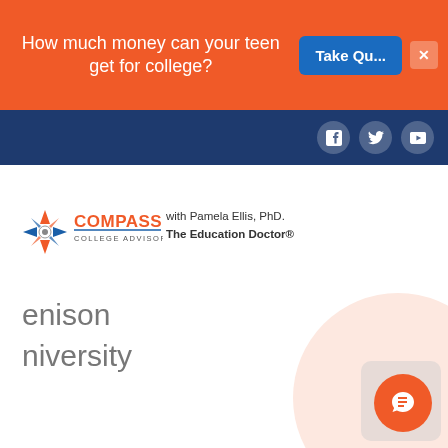[Figure (screenshot): Orange promotional banner with text 'How much money can your teen get for college?' and a blue 'Take Qu...' button and close X button]
[Figure (screenshot): Dark navy navigation bar with Facebook, Twitter, and YouTube social icons on the right]
[Figure (logo): Compass College Advisory logo with compass rose icon in orange and blue, with text 'COMPASS COLLEGE ADVISORY']
with Pamela Ellis, PhD.
The Education Doctor®
enison
niversity